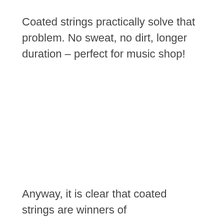Coated strings practically solve that problem. No sweat, no dirt, longer duration – perfect for music shop!
Anyway, it is clear that coated strings are winners of